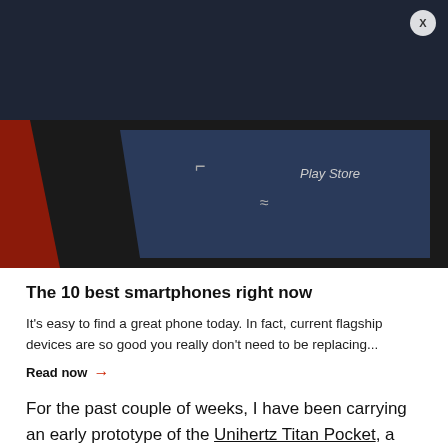[Figure (photo): Dark header bar with close button (X) at top right, and a partial photo of a smartphone showing a dark blue screen with Play Store icon visible, on a red surface]
The 10 best smartphones right now
It's easy to find a great phone today. In fact, current flagship devices are so good you really don't need to be replacing...
Read now →
For the past couple of weeks, I have been carrying an early prototype of the Unihertz Titan Pocket, a significantly smaller version of the Titan that still has a physical QWERTY keyboard and rugged design. It's available on Kickstarter for another